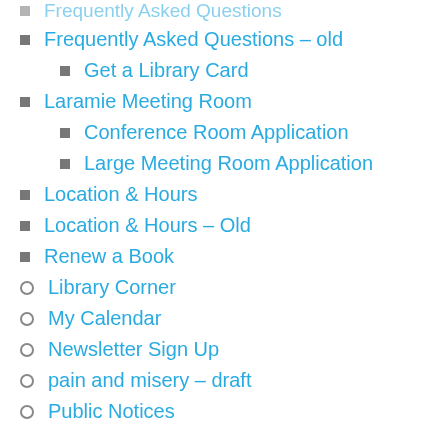Frequently Asked Questions – old
Get a Library Card
Laramie Meeting Room
Conference Room Application
Large Meeting Room Application
Location & Hours
Location & Hours – Old
Renew a Book
Library Corner
My Calendar
Newsletter Sign Up
pain and misery – draft
Public Notices